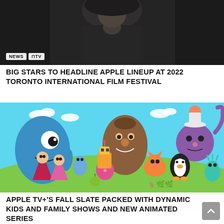[Figure (photo): A dark moody photo of a person in a grey hoodie, face partially visible, dramatic lighting]
NEWS  ⊓TV
BIG STARS TO HEADLINE APPLE LINEUP AT 2022 TORONTO INTERNATIONAL FILM FESTIVAL
[Figure (illustration): Colorful animated cartoon characters including monsters, creatures, gnomes, a penguin, and various friendly characters on a green hill with blue sky]
NEWS  ⊓TV
APPLE TV+'S FALL SLATE PACKED WITH DYNAMIC KIDS AND FAMILY SHOWS AND NEW ANIMATED SERIES